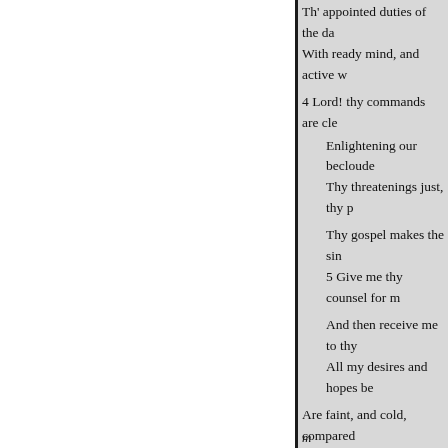Th' appointed duties of the da
With ready mind, and active w
4 Lord! thy commands are cle
Enlightening our becloude
Thy threatenings just, thy p
Thy gospel makes the sin
5 Give me thy counsel for m
And then receive me to thy
All my desires and hopes be
Are faint, and cold, compared
EVENING.
585
HYMN 585, L. M.
An Evening Sacrifice
1 NREAT God! to thee my
m